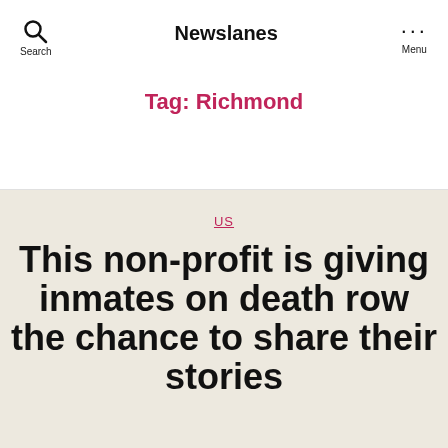Newslanes
Tag: Richmond
US
This non-profit is giving inmates on death row the chance to share their stories